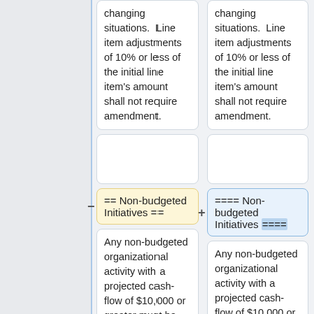changing situations.  Line item adjustments of 10% or less of the initial line item's amount shall not require amendment.
changing situations.  Line item adjustments of 10% or less of the initial line item's amount shall not require amendment.
== Non-budgeted Initiatives ==
==== Non-budgeted Initiatives ====
Any non-budgeted organizational activity with a projected cash-flow of $10,000 or greater must be reviewed and recommended by
Any non-budgeted organizational activity with a projected cash-flow of $10,000 or greater must be reviewed and recommended by